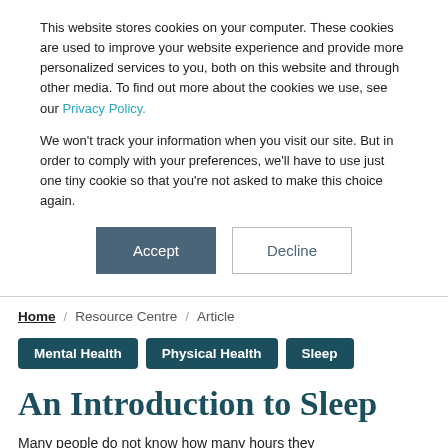This website stores cookies on your computer. These cookies are used to improve your website experience and provide more personalized services to you, both on this website and through other media. To find out more about the cookies we use, see our Privacy Policy.
We won't track your information when you visit our site. But in order to comply with your preferences, we'll have to use just one tiny cookie so that you're not asked to make this choice again.
Accept
Decline
Home  /  Resource Centre  /  Article
Mental Health
Physical Health
Sleep
An Introduction to Sleep
Many people do not know how many hours they